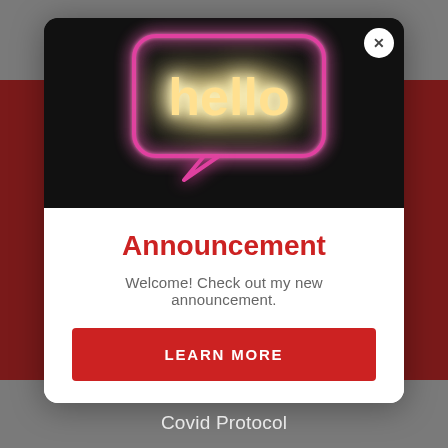[Figure (photo): Neon sign in speech bubble shape reading 'hello' in glowing pink and warm white neon light on black background]
Announcement
Welcome! Check out my new announcement.
LEARN MORE
Covid Protocol